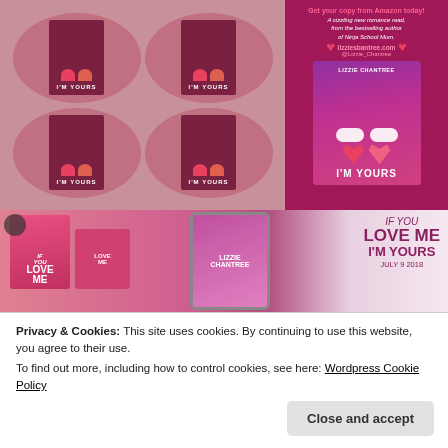[Figure (photo): Photo collage: left side shows pink circular stickers with 'I'M YOURS' book cover design on a light pink background; right side shows the book cover for 'I'm Yours' by Lizzie Chantree with hearts and clouds on a dark pink/magenta background, plus promotional text]
[Figure (photo): Photo of the 'If You Love Me I'm Yours' book by Lizzie Chantree shown on a smartphone screen and as a physical book/poster with large text 'IF YOU LOVE ME I'M YOURS JULY 9 2018' on right side]
Privacy & Cookies: This site uses cookies. By continuing to use this website, you agree to their use.
To find out more, including how to control cookies, see here: Wordpress Cookie Policy
Close and accept